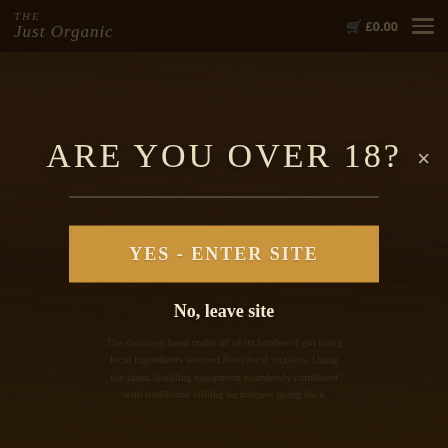Just Organic | £0.00 | menu
[Figure (screenshot): Age verification modal overlay on a dark wood-textured website background for a gin distillery. A close button (×) appears top right. The modal contains the heading 'ARE YOU OVER 18?', a horizontal divider, a gold 'YES - ENTER SITE' button, and a 'No, leave site' text link. Background shows watermark text 'QU GIN' and distillery description text.]
ARE YOU OVER 18?
YES - ENTER SITE
No, leave site